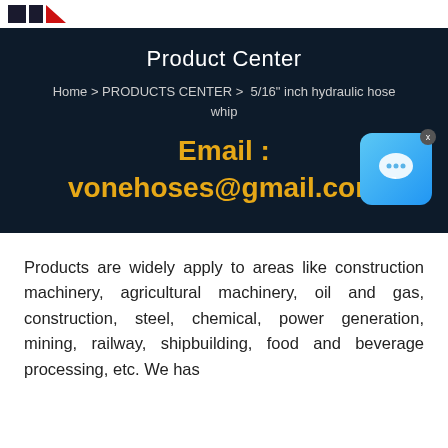[Figure (logo): Company logo with two dark squares and a red triangle]
Product Center
Home > PRODUCTS CENTER >  5/16" inch hydraulic hose whip
Email : vonehoses@gmail.com
[Figure (illustration): Blue chat bubble icon with an X close button]
Products are widely apply to areas like construction machinery, agricultural machinery, oil and gas, construction, steel, chemical, power generation, mining, railway, shipbuilding, food and beverage processing, etc. We has